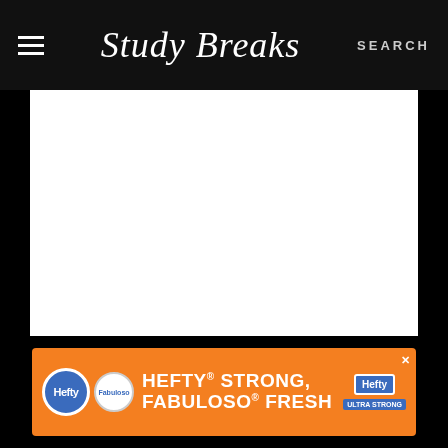Study Breaks — SEARCH
[Figure (screenshot): Embedded Instagram post area, white background, placeholder content]
A post shared by Keith Habersberger (@keithhabs)
[Figure (photo): Hefty advertisement banner: HEFTY STRONG, FABULOSO FRESH on orange background with Hefty and Fabuloso logos]